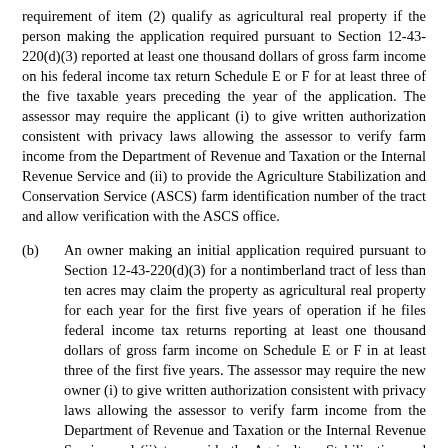requirement of item (2) qualify as agricultural real property if the person making the application required pursuant to Section 12-43-220(d)(3) reported at least one thousand dollars of gross farm income on his federal income tax return Schedule E or F for at least three of the five taxable years preceding the year of the application. The assessor may require the applicant (i) to give written authorization consistent with privacy laws allowing the assessor to verify farm income from the Department of Revenue and Taxation or the Internal Revenue Service and (ii) to provide the Agriculture Stabilization and Conservation Service (ASCS) farm identification number of the tract and allow verification with the ASCS office.
(b)    An owner making an initial application required pursuant to Section 12-43-220(d)(3) for a nontimberland tract of less than ten acres may claim the property as agricultural real property for each year for the first five years of operation if he files federal income tax returns reporting at least one thousand dollars of gross farm income on Schedule E or F in at least three of the first five years. The assessor may require the new owner (i) to give written authorization consistent with privacy laws allowing the assessor to verify farm income from the Department of Revenue and Taxation or the Internal Revenue Service and (ii) to provide the Agriculture Stabilization and Conservation Service (ASCS) farm identification number of the tract and allow verification with the ASCS office.